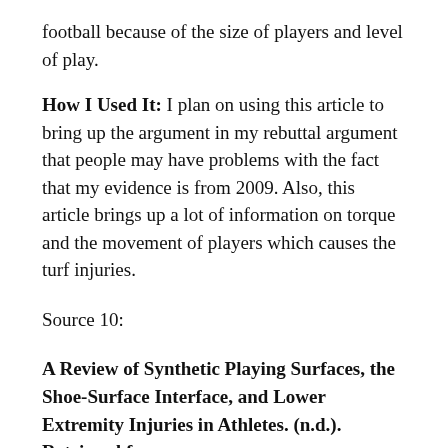football because of the size of players and level of play.
How I Used It: I plan on using this article to bring up the argument in my rebuttal argument that people may have problems with the fact that my evidence is from 2009. Also, this article brings up a lot of information on torque and the movement of players which causes the turf injuries.
Source 10:
A Review of Synthetic Playing Surfaces, the Shoe-Surface Interface, and Lower Extremity Injuries in Athletes. (n.d.). Retrieved from